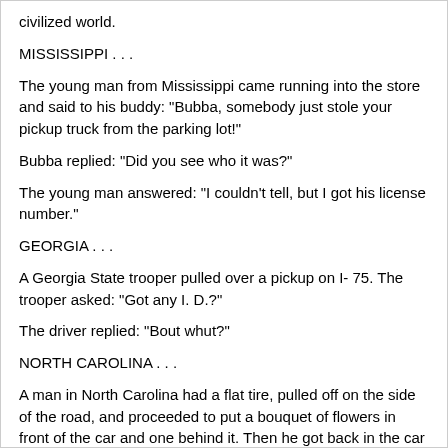civilized world.
MISSISSIPPI . . .
The young man from Mississippi came running into the store and said to his buddy: "Bubba, somebody just stole your pickup truck from the parking lot!"
Bubba replied: "Did you see who it was?"
The young man answered: "I couldn't tell, but I got his license number."
GEORGIA . . .
A Georgia State trooper pulled over a pickup on I- 75. The trooper asked: "Got any I. D.?"
The driver replied: "Bout whut?"
NORTH CAROLINA . . .
A man in North Carolina had a flat tire, pulled off on the side of the road, and proceeded to put a bouquet of flowers in front of the car and one behind it. Then he got back in the car to wait.
A passerby studied the scene as he drove by and was so curious he turned around and went back. He asked the fellow what the problem was.